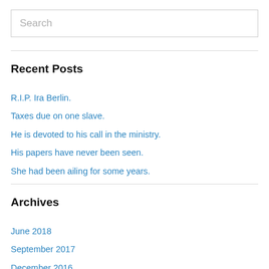Search
Recent Posts
R.I.P. Ira Berlin.
Taxes due on one slave.
He is devoted to his call in the ministry.
His papers have never been seen.
She had been ailing for some years.
Archives
June 2018
September 2017
December 2016
October 2016
September 2016